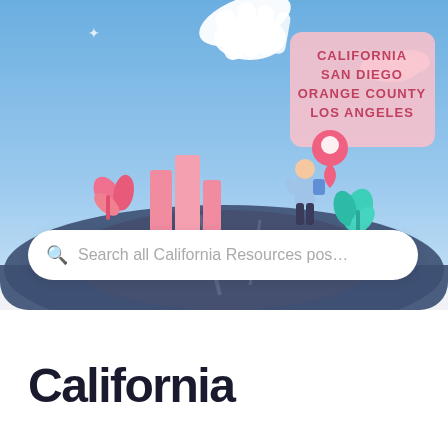[Figure (illustration): A stylized illustration of California cities on a blue gradient background. Shows pink city buildings/skyscrapers, a floating pink tooltip/panel listing 'CALIFORNIA / SAN DIEGO / ORANGE COUNTY / LOS ANGELES', a person in a jacket standing near a pink map location pin, teal/green leaf decorations, sparkle stars, dotted path lines, and a large hand pointing down from the top. The scene is set against a gradient blue sky background.]
Search all California Resources post
California